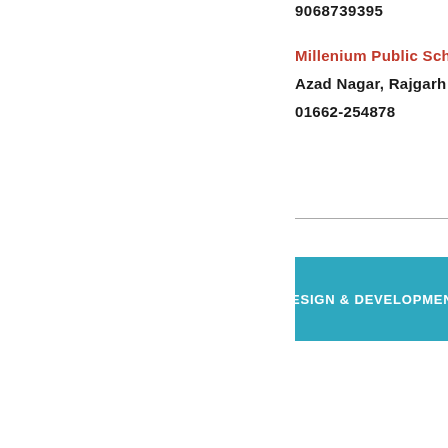9068739395
Millenium Public School
Azad Nagar, Rajgarh Road
01662-254878
DESIGN & DEVELOPMENT